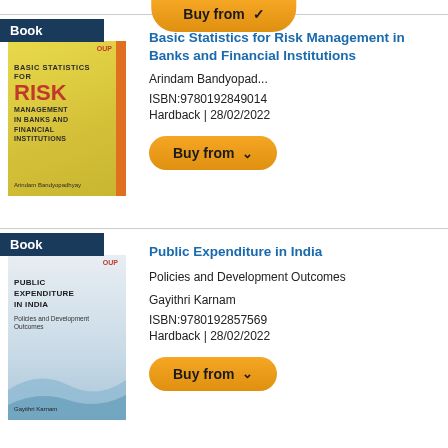[Figure (illustration): Book cover: Basic Statistics for Risk Management in Banks and Financial Institutions, yellow cover with red RISK text]
Basic Statistics for Risk Management in Banks and Financial Institutions
Arindam Bandyopad...
ISBN:9780192849014
Hardback | 28/02/2022
[Figure (illustration): Book cover: Public Expenditure in India, light blue/white cover with wave design]
Public Expenditure in India
Policies and Development Outcomes
Gayithri Karnam
ISBN:9780192857569
Hardback | 28/02/2022